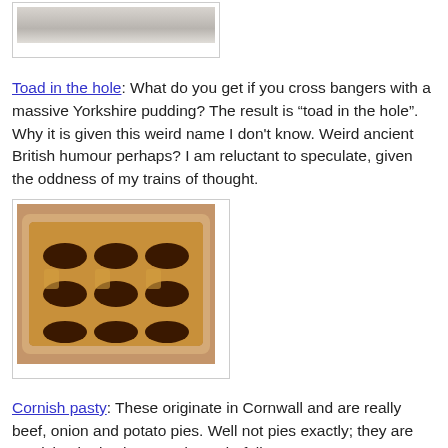[Figure (photo): Partial view of a dish on a plate, cropped at top of page]
Toad in the hole: What do you get if you cross bangers with a massive Yorkshire pudding? The result is “toad in the hole”. Why it is given this weird name I don’t know. Weird ancient British humour perhaps? I am reluctant to speculate, given the oddness of my trains of thought.
[Figure (photo): A baking dish containing toad in the hole: sausages baked in Yorkshire pudding batter, golden brown]
Cornish pasty: These originate in Cornwall and are really beef, onion and potato pies. Well not pies exactly; they are semicircular in shape and wonderfully tasty.
[Figure (photo): Partial view of a Cornish pasty, cropped at bottom of page]